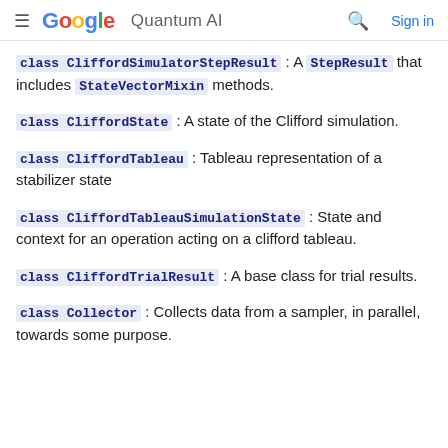Google Quantum AI — Sign in
class CliffordSimulatorStepResult : A StepResult that includes StateVectorMixin methods.
class CliffordState : A state of the Clifford simulation.
class CliffordTableau : Tableau representation of a stabilizer state
class CliffordTableauSimulationState : State and context for an operation acting on a clifford tableau.
class CliffordTrialResult : A base class for trial results.
class Collector : Collects data from a sampler, in parallel, towards some purpose.